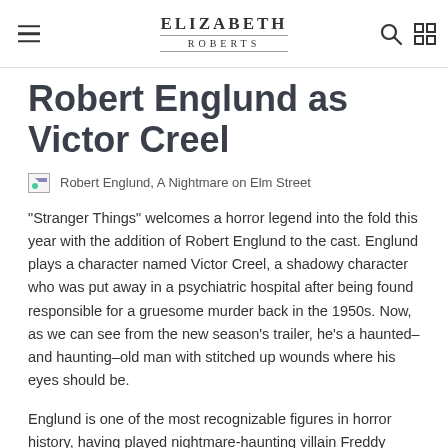ELIZABETH ROBERTS
Robert Englund as Victor Creel
[Figure (photo): Robert Englund, A Nightmare on Elm Street — broken image placeholder with caption]
"Stranger Things" welcomes a horror legend into the fold this year with the addition of Robert Englund to the cast. Englund plays a character named Victor Creel, a shadowy character who was put away in a psychiatric hospital after being found responsible for a gruesome murder back in the 1950s. Now, as we can see from the new season's trailer, he's a haunted–and haunting–old man with stitched up wounds where his eyes should be.
Englund is one of the most recognizable figures in horror history, having played nightmare-haunting villain Freddy Kreuger in all eight "Nightmare on Elm Street" films. He also has a wonderfully meta turn in the 1998 slasher